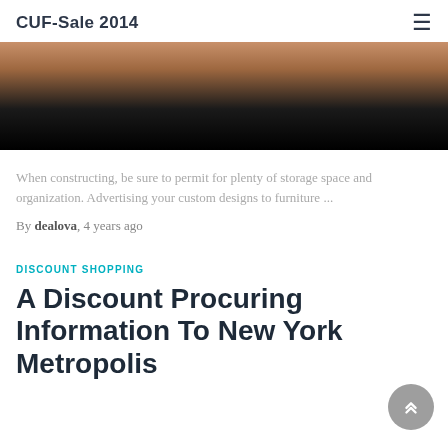CUF-Sale 2014
[Figure (photo): A photo of a wooden interior/furniture area with a dark black lower section, partially visible person in the background.]
When constructing, be sure to permit for plenty of storage space and organization. Advertising your custom designs to furniture ...
By dealova, 4 years ago
DISCOUNT SHOPPING
A Discount Procuring Information To New York Metropolis